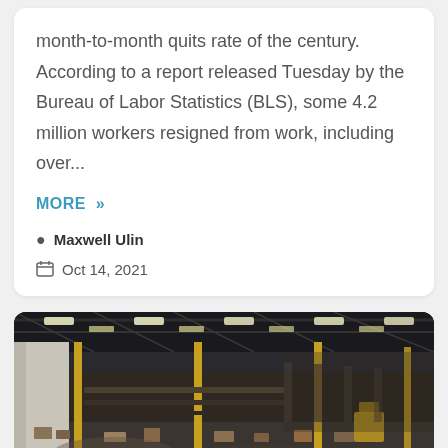month-to-month quits rate of the century. According to a report released Tuesday by the Bureau of Labor Statistics (BLS), some 4.2 million workers resigned from work, including over...
MORE »
Maxwell Ulin
Oct 14, 2021
[Figure (photo): Interior of a large warehouse or fulfillment center with high ceilings, industrial lighting, yellow structural columns, conveyor systems, and workers/packages on the floor.]